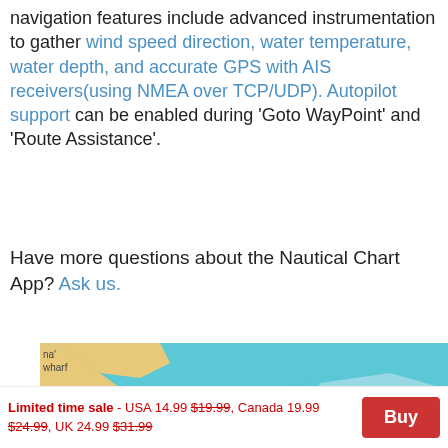Navigation features include advanced instrumentation to gather wind speed direction, water temperature, water depth, and accurate GPS with AIS receivers(using NMEA over TCP/UDP). Autopilot support can be enabled during 'Goto WayPoint' and 'Route Assistance'.
Have more questions about the Nautical Chart App? Ask us.
[Figure (map): Nautical chart map showing Placentia Lagoon area with Mango Creek, Rum Point, Placentia Village, depth markers, and navigation lines.]
Limited time sale - USA 14.99 $19.99, Canada 19.99 $24.99, UK 24.99 $31.99  [Buy button]